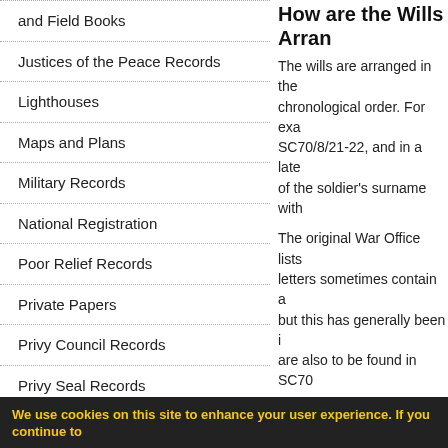and Field Books
Justices of the Peace Records
Lighthouses
Maps and Plans
Military Records
National Registration
Poor Relief Records
Private Papers
Privy Council Records
Privy Seal Records
Railway Records
Sasines
How are the Wills Arran…
The wills are arranged in the… chronological order. For exa… SC70/8/21-22, and in a late… of the soldier's surname with…
The original War Office lists… letters sometimes contain a… but this has generally been i… are also to be found in SC70…
Types of Will
There are several distinct ty… were designed to be filled in… wills were mostly filed in a lo… soldier died. See examples o…
1.  Informal will from pay…
We use cookies on this site to enhance your user experience. If you continue to